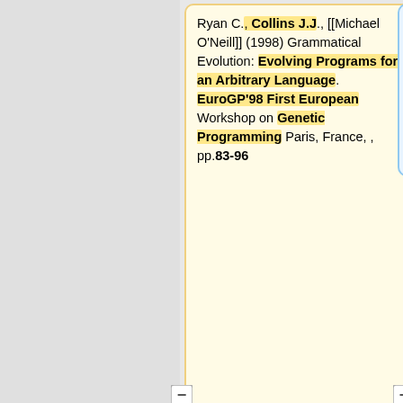Ryan C., Collins J.J., [[Michael O'Neill]] (1998) Grammatical Evolution: Evolving Programs for an Arbitrary Language. EuroGP'98 First European Workshop on Genetic Programming Paris, France, , pp.83-96
Ryan C., [[Michael O'Neill]] (1998) Grammatical Evolution: A Steady State approach. Second International Workshop on Frontiers in Evolutionary Algorithms Research Triangle Park, North Carolina, USA, , pp.419-423
Ryan C., [[Michael